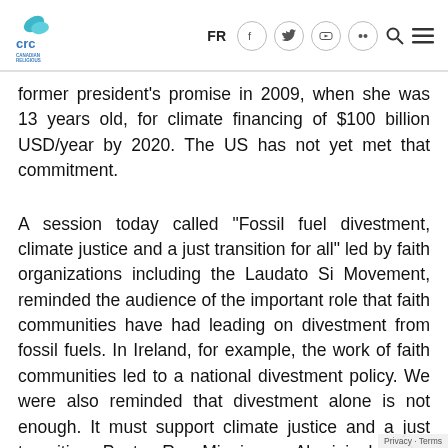CRC Canadian Religious Conference | FR | [social icons] | Search | Menu
former president’s promise in 2009, when she was 13 years old, for climate financing of $100 billion USD/year by 2020. The US has not yet met that commitment.
A session today called “Fossil fuel divestment, climate justice and a just transition for all” led by faith organizations including the Laudato Si Movement, reminded the audience of the important role that faith communities have had leading on divestment from fossil fuels. In Ireland, for example, the work of faith communities led to a national divestment policy. We were also reminded that divestment alone is not enough. It must support climate justice and a just transition. Pastor Ray Minniecon, Aboriginal pastor from the Kabikabi and Gurang-Gurang tribes of Queensland, Australia, noted that faith communities must at the same time apologize for the Doctrine of